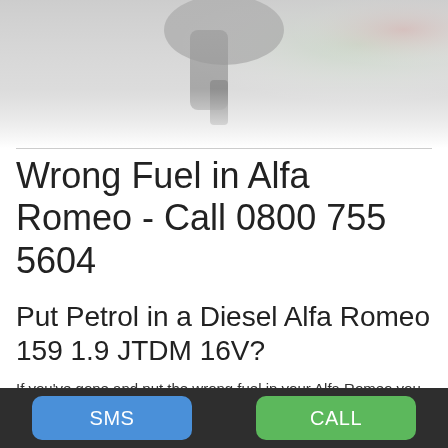[Figure (photo): Photo of a person holding a fuel pump nozzle at a petrol station, partially cropped at the top of the page with a white fade at the bottom.]
Wrong Fuel in Alfa Romeo - Call 0800 755 5604
Put Petrol in a Diesel Alfa Romeo 159 1.9 JTDM 16V?
If you've gone and put the wrong fuel in your Alfa Romeo you probably want to know what you should do about it. The answer to this question depends on the quantity of Petrol you put in your